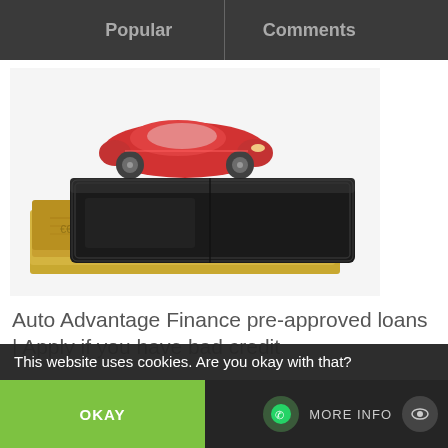Popular | Comments
[Figure (photo): A red toy sports car in the background with a black leather wallet stuffed with euro banknotes in the foreground, on a white surface.]
Auto Advantage Finance pre-approved loans | Apply if you have bad credit
This website uses cookies. Are you okay with that?
OKAY
MORE INFO